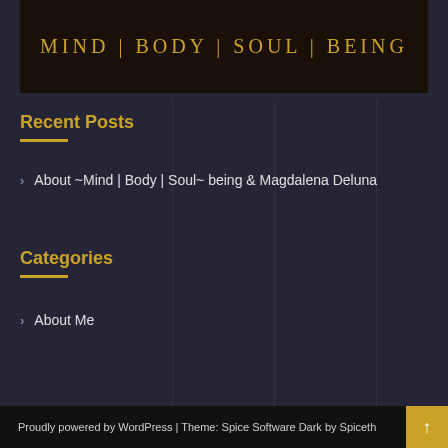[Figure (illustration): Dark themed banner with gold text reading 'MIND | BODY | SOUL | BEING' with decorative elements on a black background]
Recent Posts
> About ~Mind | Body | Soul~ being & Magdalena Deluna
Categories
> About Me
Proudly powered by WordPress | Theme: Spice Software Dark by Spiceth…